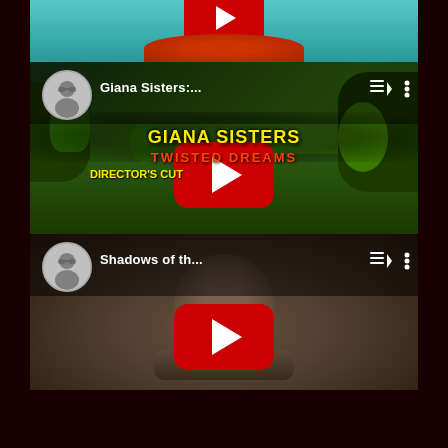[Figure (screenshot): Screenshot of a YouTube playlist/feed showing two video thumbnails. Top partially visible thumbnail shows a colorful game scene with teal background and red play button. Second thumbnail shows 'Giana Sisters: Twisted Dreams Director's Cut' with green jungle game background, channel avatar, playlist icon, more options icon, and red YouTube play button. Third thumbnail shows 'Shadows of th...' with a dark sepia close-up background, channel avatar, playlist icon, more options icon, and red YouTube play button. Dark maroon background borders the white card.]